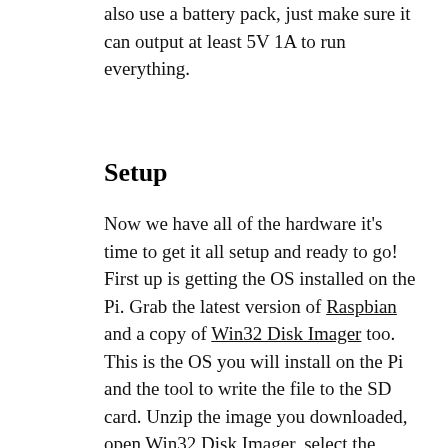also use a battery pack, just make sure it can output at least 5V 1A to run everything.
Setup
Now we have all of the hardware it's time to get it all setup and ready to go! First up is getting the OS installed on the Pi. Grab the latest version of Raspbian and a copy of Win32 Disk Imager too. This is the OS you will install on the Pi and the tool to write the file to the SD card. Unzip the image you downloaded, open Win32 Disk Imager, select the image file you just unzipped and from the device drop down menu select the SD card that you will be using for your Pi. Make sure you